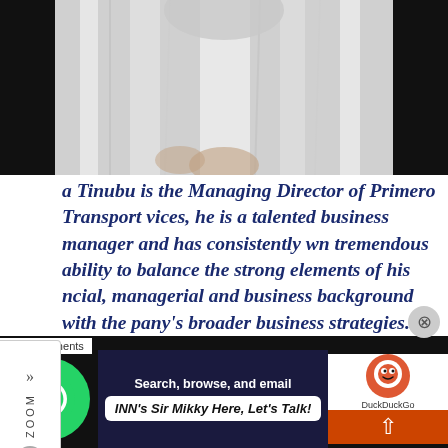[Figure (photo): Cropped photo of a person in white traditional/formal attire, upper torso and hands visible against dark background]
a Tinubu is the Managing Director of Primero Transport vices, he is a talented business manager and has consistently wn tremendous ability to balance the strong elements of his ncial, managerial and business background with the pany's broader business strategies.
He holds a B.A Degree in Economics and Politics from the University of East Anglia in Norwich England, and an MBA fro
[Figure (screenshot): Advertisement bar at the bottom with WhatsApp chat button, DuckDuckGo ad, and 'INN's Sir Mikky Here, Let's Talk!' speech bubble]